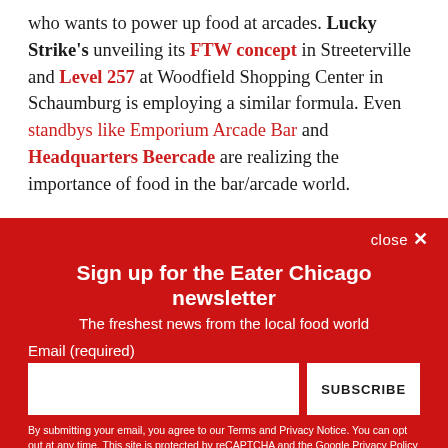who wants to power up food at arcades. Lucky Strike's unveiling its FTW concept in Streeterville and Level 257 at Woodfield Shopping Center in Schaumburg is employing a similar formula. Even standbys like Emporium Arcade Bar and Headquarters Beercade are realizing the importance of food in the bar/arcade world.
Sign up for the Eater Chicago newsletter
The freshest news from the local food world
Email (required)
By submitting your email, you agree to our Terms and Privacy Notice. You can opt out at any time. This site is protected by reCAPTCHA and the Google Privacy Policy and Terms of Service apply.